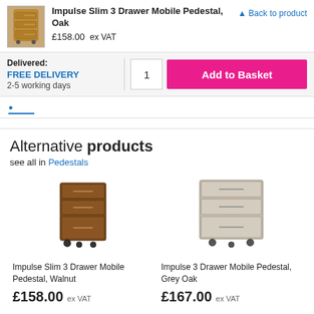Impulse Slim 3 Drawer Mobile Pedestal, Oak
£158.00 ex VAT
Back to product
Delivered: FREE DELIVERY 2-5 working days
1  Add to Basket
Alternative products
see all in Pedestals
[Figure (photo): Impulse Slim 3 Drawer Mobile Pedestal in Walnut wood finish]
Impulse Slim 3 Drawer Mobile Pedestal, Walnut
£158.00 ex VAT
[Figure (photo): Impulse 3 Drawer Mobile Pedestal in Grey Oak wood finish]
Impulse 3 Drawer Mobile Pedestal, Grey Oak
£167.00 ex VAT